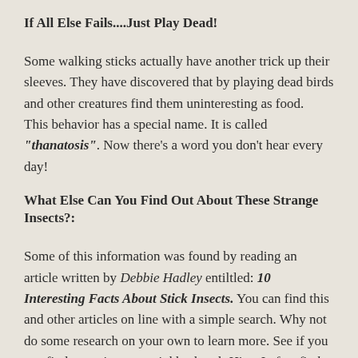If All Else Fails....Just Play Dead!
Some walking sticks actually have another trick up their sleeves. They have discovered that by playing dead birds and other creatures find them uninteresting as food.  This behavior has a special name. It is called "thanatosis". Now there's a word you don't hear every day!
What Else Can You Find Out About These Strange Insects?:
Some of this information was found by reading an article written by Debbie Hadley entiltled: 10 Interesting Facts About Stick Insects. You can find this and other articles on line with a simple search. Why not do some research on your own to learn more. See if you can find some in your neighborhood. Hint: I often find them in the fall on the outside of